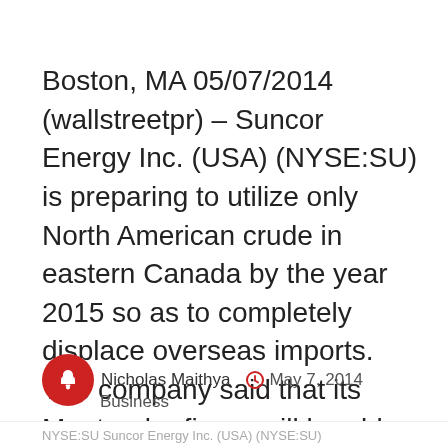Boston, MA 05/07/2014 (wallstreetpr) – Suncor Energy Inc. (USA) (NYSE:SU) is preparing to utilize only North American crude in eastern Canada by the year 2015 so as to completely displace overseas imports. The company said that its Montreal refinery will be able to generate the required crude by 2015. Since Novemeber, the crude imports from outside [...]
Nicholas Maithya   May 7, 2014   Business